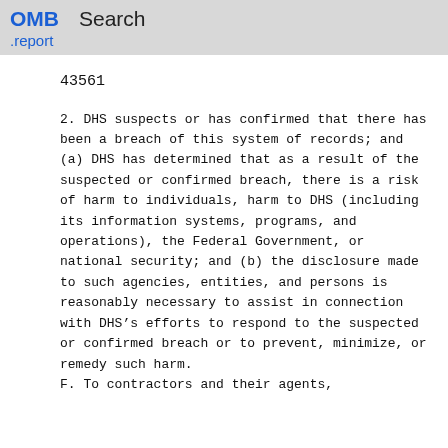OMB .report   Search
43561
2. DHS suspects or has confirmed that there has been a breach of this system of records; and (a) DHS has determined that as a result of the suspected or confirmed breach, there is a risk of harm to individuals, harm to DHS (including its information systems, programs, and operations), the Federal Government, or national security; and (b) the disclosure made to such agencies, entities, and persons is reasonably necessary to assist in connection with DHS’s efforts to respond to the suspected or confirmed breach or to prevent, minimize, or remedy such harm.
F. To contractors and their agents,